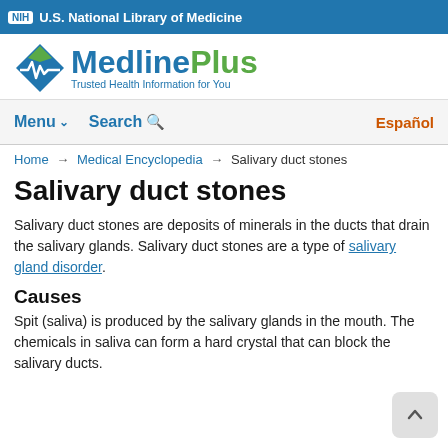NIH U.S. National Library of Medicine
[Figure (logo): MedlinePlus logo with heart monitor icon and tagline 'Trusted Health Information for You']
Menu   Search   Español
Home → Medical Encyclopedia → Salivary duct stones
Salivary duct stones
Salivary duct stones are deposits of minerals in the ducts that drain the salivary glands. Salivary duct stones are a type of salivary gland disorder.
Causes
Spit (saliva) is produced by the salivary glands in the mouth. The chemicals in saliva can form a hard crystal that can block the salivary ducts.